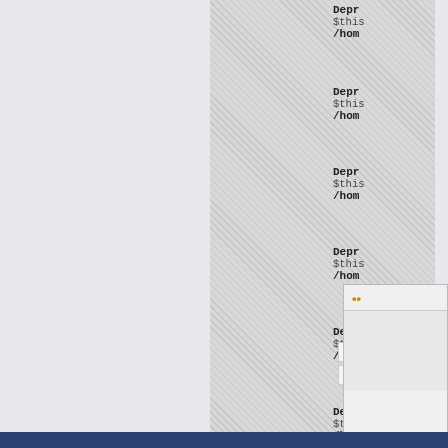Depr
$this
/hom
Depr
$this
/hom
Depr
$this
/hom
Depr
$this
/hom
Depr
$this
/hom
Depr
$this
/hom
[Figure (screenshot): UI input fields and button box with orange ellipsis dots]